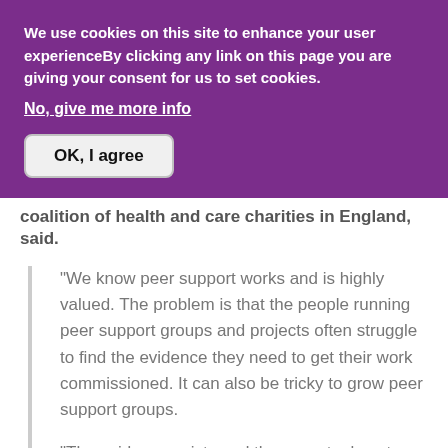We use cookies on this site to enhance your user experienceBy clicking any link on this page you are giving your consent for us to set cookies.
No, give me more info
OK, I agree
coalition of health and care charities in England, said.
“We know peer support works and is highly valued. The problem is that the people running peer support groups and projects often struggle to find the evidence they need to get their work commissioned. It can also be tricky to grow peer support groups.
“The evidence exists and there are tools out there, but they are sometimes buried. By bringing them together in one place we can help people